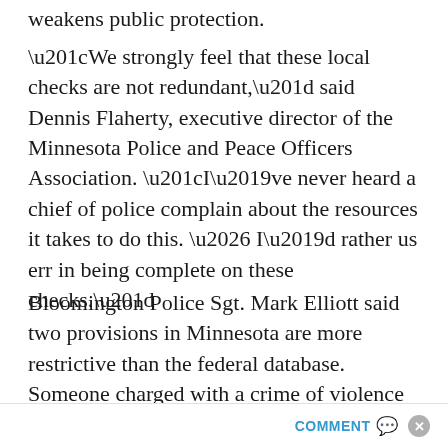weakens public protection.
“We strongly feel that these local checks are not redundant,” said Dennis Flaherty, executive director of the Minnesota Police and Peace Officers Association. “I’ve never heard a chief of police complain about the resources it takes to do this. … I’d rather us err in being complete on these checks.”
Bloomington Police Sgt. Mark Elliott said two provisions in Minnesota are more restrictive than the federal database. Someone charged with a crime of violence and placed in a pretrial diversion program before a disposition would be ineligible to get a permit under Minnesota law, but would get a federal
COMMENT